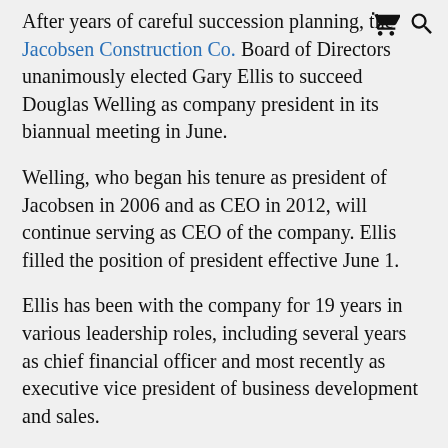After years of careful succession planning, the Jacobsen Construction Co. Board of Directors unanimously elected Gary Ellis to succeed Douglas Welling as company president in its biannual meeting in June.
Welling, who began his tenure as president of Jacobsen in 2006 and as CEO in 2012, will continue serving as CEO of the company. Ellis filled the position of president effective June 1.
Ellis has been with the company for 19 years in various leadership roles, including several years as chief financial officer and most recently as executive vice president of business development and sales.
"With 98 years of excellence to build on, we will continue to hold to the values of safety, a caring culture and a job well done as the ingredients that bind us